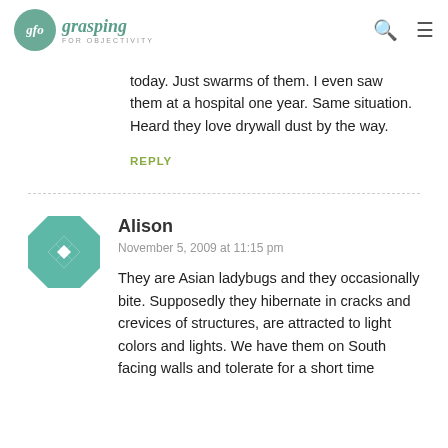glo grasping FOR OBJECTIVITY
today. Just swarms of them. I even saw them at a hospital one year. Same situation. Heard they love drywall dust by the way.
REPLY
Alison
November 5, 2009 at 11:15 pm
They are Asian ladybugs and they occasionally bite. Supposedly they hibernate in cracks and crevices of structures, are attracted to light colors and lights. We have them on South facing walls and tolerate for a short time